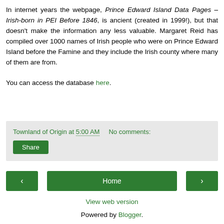In internet years the webpage, Prince Edward Island Data Pages – Irish-born in PEI Before 1846, is ancient (created in 1999!), but that doesn't make the information any less valuable. Margaret Reid has compiled over 1000 names of Irish people who were on Prince Edward Island before the Famine and they include the Irish county where many of them are from.

You can access the database here.
Townland of Origin at 5:00 AM   No comments:
Share
‹
Home
›
View web version
Powered by Blogger.